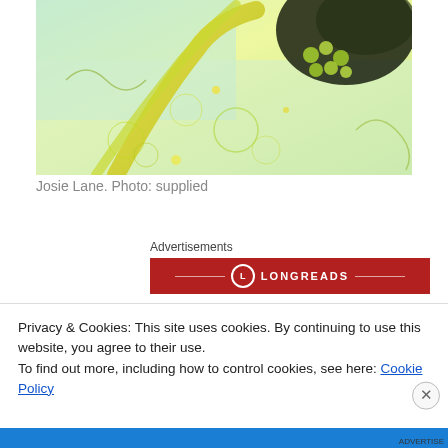[Figure (photo): Close-up photo of a plant or organic material with yellow-green tones, intricate textures, and a dark background area in the top right corner.]
Josie Lane. Photo: supplied
Advertisements
[Figure (logo): Longreads red advertisement banner with circular logo and decorative lines]
An outrageously funny, sweet, ballsy and, yes, provocative, piece by a little dynamo-of-a-performer who
Privacy & Cookies: This site uses cookies. By continuing to use this website, you agree to their use.
To find out more, including how to control cookies, see here: Cookie Policy
Close and accept